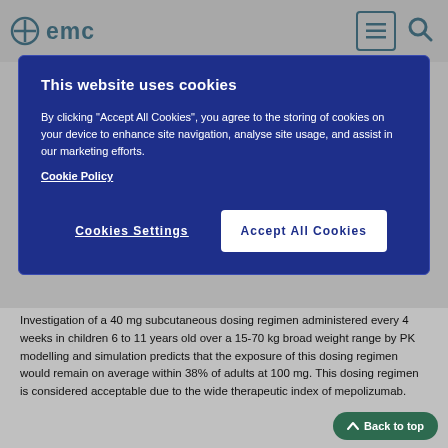emc
adults at 100 mg.
Investigation of a 40 mg subcutaneous dosing regimen administered every 4 weeks in children 6 to 11 years old over a 15-70 kg broad weight range by PK modelling and simulation predicts that the exposure of this dosing regimen would remain on average within 38% of adults at 100 mg. This dosing regimen is considered acceptable due to the wide therapeutic index of mepolizumab.
EGPA
Mepolizumab pharmacokinetics in children (6 to 17 years old) with EGPA were predicted using modelling and simulation, based on pharmacokinetics in other eosinophilic diseases, and are expected to be